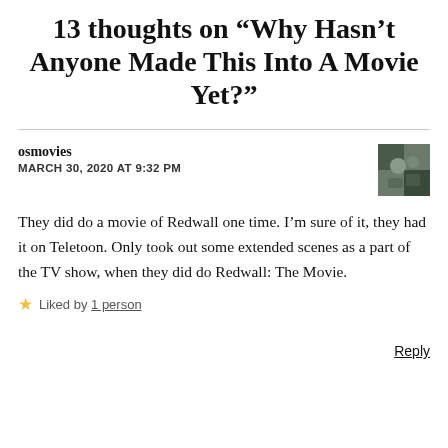13 thoughts on “Why Hasn’t Anyone Made This Into A Movie Yet?”
osmovies
MARCH 30, 2020 AT 9:32 PM
They did do a movie of Redwall one time. I’m sure of it, they had it on Teletoon. Only took out some extended scenes as a part of the TV show, when they did do Redwall: The Movie.
★ Liked by 1 person
Reply